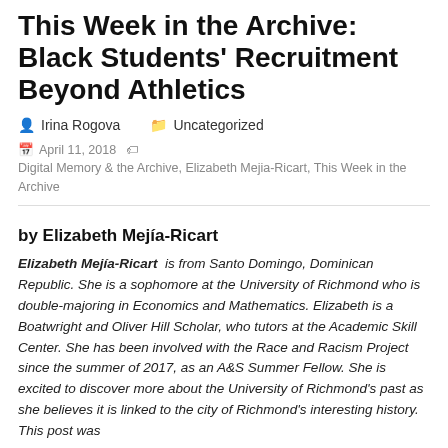This Week in the Archive: Black Students' Recruitment Beyond Athletics
Irina Rogova   Uncategorized
April 11, 2018   Digital Memory & the Archive, Elizabeth Mejia-Ricart, This Week in the Archive
by Elizabeth Mejía-Ricart
Elizabeth Mejía-Ricart  is from Santo Domingo, Dominican Republic. She is a sophomore at the University of Richmond who is double-majoring in Economics and Mathematics. Elizabeth is a Boatwright and Oliver Hill Scholar, who tutors at the Academic Skill Center. She has been involved with the Race and Racism Project since the summer of 2017, as an A&S Summer Fellow. She is excited to discover more about the University of Richmond's past as she believes it is linked to the city of Richmond's interesting history. This post was